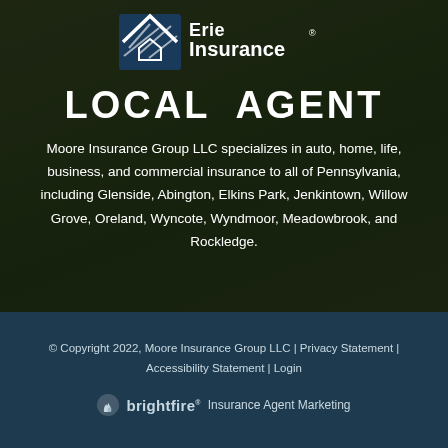[Figure (logo): Erie Life Insurance logo — stylized house/shield icon with 'Erie Life Insurance' text in white]
LOCAL AGENT
Moore Insurance Group LLC specializes in auto, home, life, business, and commercial insurance to all of Pennsylvania, including Glenside, Abington, Elkins Park, Jenkintown, Willow Grove, Oreland, Wyncote, Wyndmoor, Meadowbrook, and Rockledge.
© Copyright 2022, Moore Insurance Group LLC | Privacy Statement | Accessibility Statement | Login
[Figure (logo): BrightFire logo with flame icon followed by 'brightfire' wordmark and 'Insurance Agent Marketing' text]